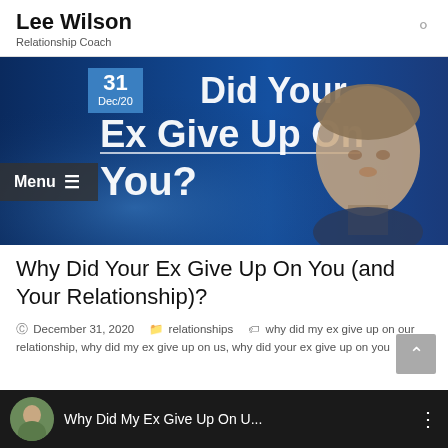Lee Wilson
Relationship Coach
[Figure (photo): Hero banner image showing a man in a dark jacket against a blue background with text 'Did Your Ex Give Up On You?' overlaid. Includes a calendar date badge showing 31 Dec/20.]
Why Did Your Ex Give Up On You (and Your Relationship)?
December 31, 2020  relationships  why did my ex give up on our relationship, why did my ex give up on us, why did your ex give up on you
[Figure (screenshot): Video thumbnail showing 'Why Did My Ex Give Up On U...' with a circular avatar photo on the left and three-dot menu icon on the right, on a dark background.]